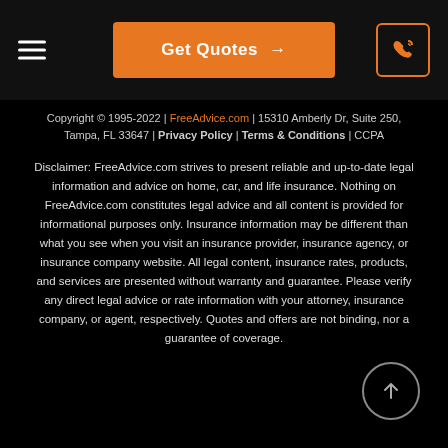Get Quotes →
Copyright © 1995-2022 | FreeAdvice.com | 15310 Amberly Dr, Suite 250, Tampa, FL 33647 | Privacy Policy | Terms & Conditions | CCPA
Disclaimer: FreeAdvice.com strives to present reliable and up-to-date legal information and advice on home, car, and life insurance. Nothing on FreeAdvice.com constitutes legal advice and all content is provided for informational purposes only. Insurance information may be different than what you see when you visit an insurance provider, insurance agency, or insurance company website. All legal content, insurance rates, products, and services are presented without warranty and guarantee. Please verify any direct legal advice or rate information with your attorney, insurance company, or agent, respectively. Quotes and offers are not binding, nor a guarantee of coverage.